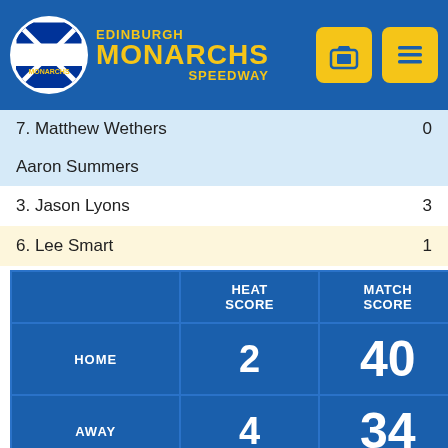Edinburgh Monarchs Speedway
7. Matthew Wethers  0
Aaron Summers
3. Jason Lyons  3
6. Lee Smart  1
|  | HEAT SCORE | MATCH SCORE |
| --- | --- | --- |
| HOME | 2 | 40 |
| AWAY | 4 | 34 |
HEAT 13
Time: 58.3
1. George Stancl  2